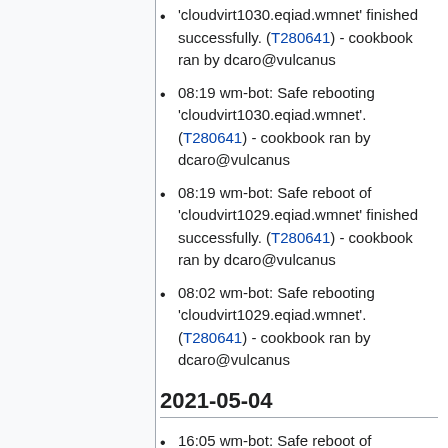'cloudvirt1030.eqiad.wmnet' finished successfully. (T280641) - cookbook ran by dcaro@vulcanus
08:19 wm-bot: Safe rebooting 'cloudvirt1030.eqiad.wmnet'. (T280641) - cookbook ran by dcaro@vulcanus
08:19 wm-bot: Safe reboot of 'cloudvirt1029.eqiad.wmnet' finished successfully. (T280641) - cookbook ran by dcaro@vulcanus
08:02 wm-bot: Safe rebooting 'cloudvirt1029.eqiad.wmnet'. (T280641) - cookbook ran by dcaro@vulcanus
2021-05-04
16:05 wm-bot: Safe reboot of 'cloudvirt1028.eqiad.wmnet' finished successfully. (T280641) - cookbook